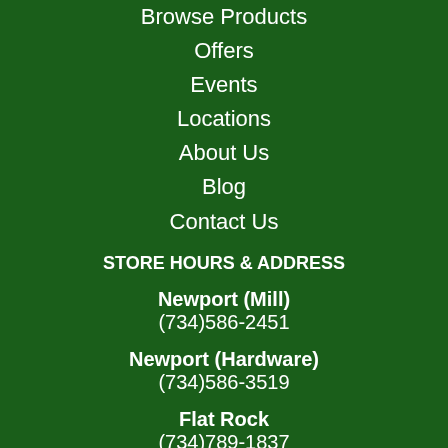Browse Products
Offers
Events
Locations
About Us
Blog
Contact Us
STORE HOURS & ADDRESS
Newport (Mill)
(734)586-2451
Newport (Hardware)
(734)586-3519
Flat Rock
(734)789-1837